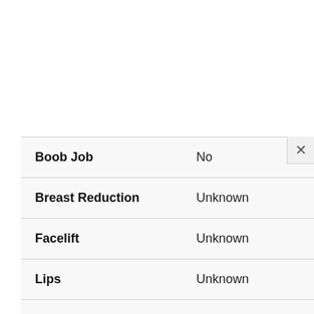| Procedure | Status |
| --- | --- |
| Boob Job | No |
| Breast Reduction | Unknown |
| Facelift | Unknown |
| Lips | Unknown |
| Fillers | Unknown |
| Botox | Unknown |
| Liposuction | Unknown |
| Butt Implants | Unknown |
| Butt Lift | Unknown |